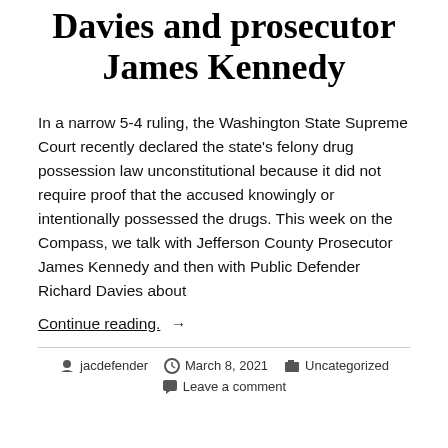Davies and prosecutor James Kennedy
In a narrow 5-4 ruling, the Washington State Supreme Court recently declared the state's felony drug possession law unconstitutional because it did not require proof that the accused knowingly or intentionally possessed the drugs. This week on the Compass, we talk with Jefferson County Prosecutor James Kennedy and then with Public Defender Richard Davies about
Continue reading. →
jacdefender · March 8, 2021 · Uncategorized · Leave a comment